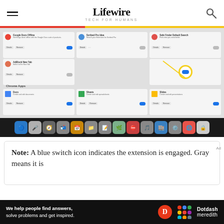Lifewire TECH FOR HUMANS
[Figure (screenshot): Screenshot of Chrome extension management page showing installed extensions (Google Docs Offline, Scribed Pro, Safe Finder Custom Search, AdBlock New Tab) and Chrome Apps (Docs, Sheets, Slides) with a yellow arrow highlighting a toggle switch. Mac Dock visible at bottom.]
Note: A blue switch icon indicates the extension is engaged. Gray means it is
[Figure (other): Dotdash Meredith advertisement banner: 'We help people find answers, solve problems and get inspired.' with Dotdash Meredith logo]